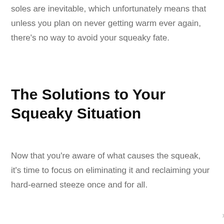soles are inevitable, which unfortunately means that unless you plan on never getting warm ever again, there's no way to avoid your squeaky fate.
The Solutions to Your Squeaky Situation
Now that you're aware of what causes the squeak, it's time to focus on eliminating it and reclaiming your hard-earned steeze once and for all.
x